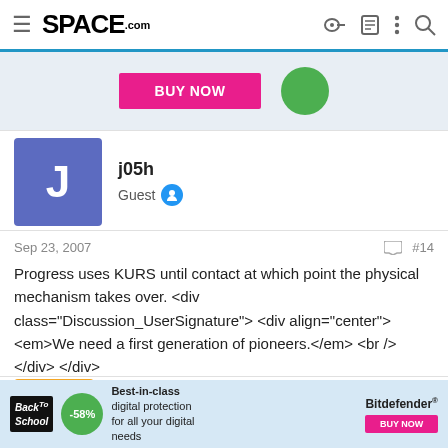SPACE.com
[Figure (screenshot): Ad banner with pink BUY NOW button and green circle]
j05h
Guest
Sep 23, 2007   #14
Progress uses KURS until contact at which point the physical mechanism takes over. <div class="Discussion_UserSignature"> <div align="center"><em>We need a first generation of pioneers.</em> <br /></div> </div>
willpittenger
Guest
[Figure (screenshot): Bottom advertisement: Back to School -58% Bitdefender digital protection BUY NOW]